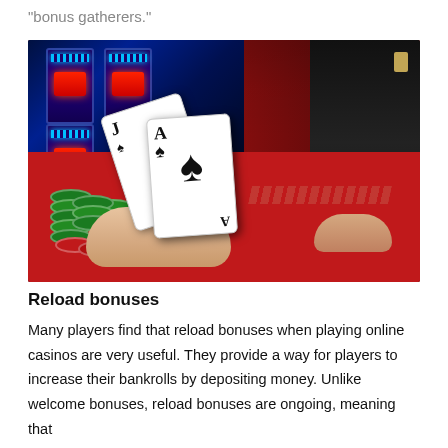“bonus gatherers.”
[Figure (photo): Casino blackjack table scene: a player's hand holds a Jack of spades and Ace of spades (a blackjack hand), with green and red poker chips stacked on the red felt table. Slot machines glow blue in the background. A dealer stands on the right side.]
Reload bonuses
Many players find that reload bonuses when playing online casinos are very useful. They provide a way for players to increase their bankrolls by depositing money. Unlike welcome bonuses, reload bonuses are ongoing, meaning that